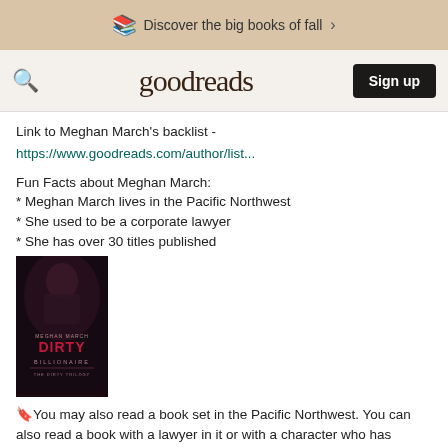Discover the big books of fall >
goodreads  Sign up
Link to Meghan March's backlist - https://www.goodreads.com/author/list...
Fun Facts about Meghan March:
* Meghan March lives in the Pacific Northwest
* She used to be a corporate lawyer
* She has over 30 titles published
[Figure (photo): Book cover of 'Dirty Billionaire' by Meghan March — dark cover with red title text]
🔖You may also read a book set in the Pacific Northwest. You can also read a book with a lawyer in it or with a character who has changed occupations (with no regrets!)
4. October is National Seafood Month. 🔖Read a book that has a "fishy" character (suspicious or other-worldly such as a